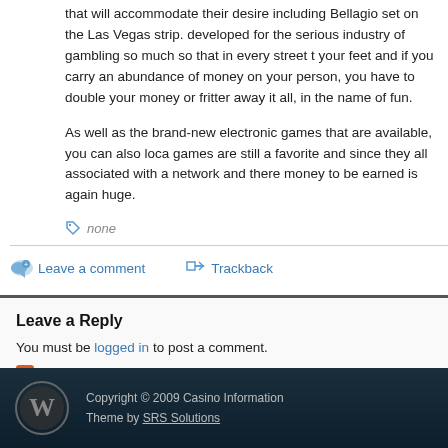that will accommodate their desire including Bellagio set on the Las Vegas strip. developed for the serious industry of gambling so much so that in every street t your feet and if you carry an abundance of money on your person, you have to double your money or fritter away it all, in the name of fun.
As well as the brand-new electronic games that are available, you can also loca games are still a favorite and since they all associated with a network and there money to be earned is again huge.
none
Leave a comment   Trackback
Leave a Reply
You must be logged in to post a comment.
RSS feed for this post (comments)
Copyright © 2009 Casino Information Theme by SRS Solutions